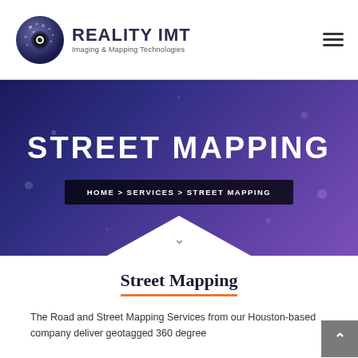[Figure (logo): Reality IMT globe logo with camera eye and hexagonal pattern, followed by company name 'REALITY IMT Imaging & Mapping Technologies']
[Figure (illustration): Hamburger menu icon (three horizontal lines) in the top right corner]
STREET MAPPING
HOME > SERVICES > STREET MAPPING
Street Mapping
The Road and Street Mapping Services from our Houston-based company deliver geotagged 360 degree